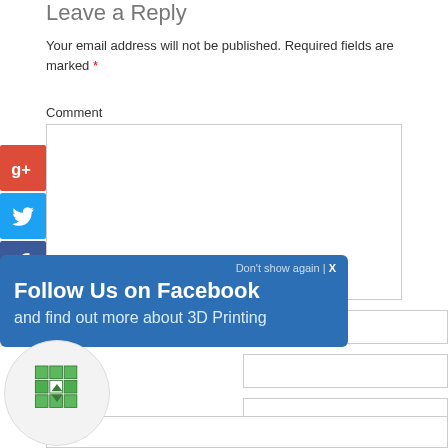Leave a Reply
Your email address will not be published. Required fields are marked *
Comment
[Figure (screenshot): Comment text area input box]
[Figure (infographic): Facebook follow popup overlay with text: Don't show again | X, Follow Us on Facebook, and find out more about 3D Printing]
[Figure (logo): 3D printing cube logo in a circle]